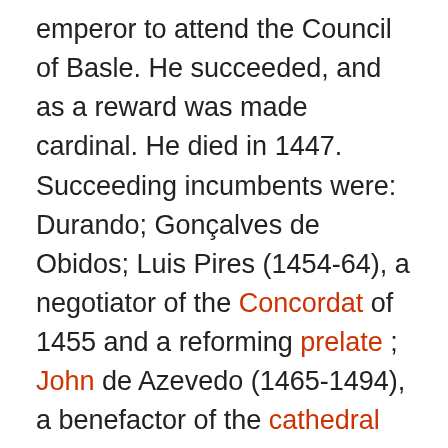emperor to attend the Council of Basle. He succeeded, and as a reward was made cardinal. He died in 1447. Succeeding incumbents were: Durando; Gonçalves de Obidos; Luis Pires (1454-64), a negotiator of the Concordat of 1455 and a reforming prelate ; John de Azevedo (1465-1494), a benefactor of the cathedral and chapter, as was his successor Diego de Sousa, afterwards Archbishop of Braga and executor of King Manuel. The see was then held by two brothers in succession, Diego da Costa (1505-7) and D. Pedro da Costa (1511-39), who restored the bishop's palace and enriched the capitular revenues from his own purse; Belchior Beliago; and the Carmelite Frei Balthazar Limpo